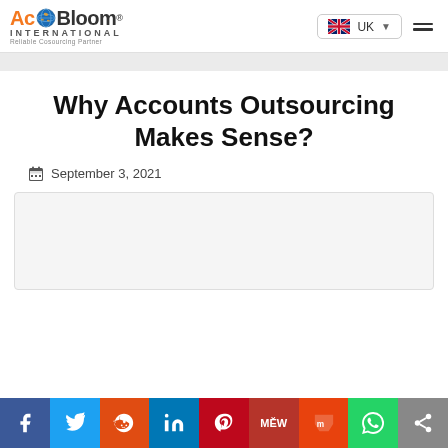AcoBoom International - Reliable Cosourcing Partner | UK
Why Accounts Outsourcing Makes Sense?
September 3, 2021
[Figure (photo): Article featured image placeholder]
Social share bar: Facebook, Twitter, Reddit, LinkedIn, Pinterest, MeWe, Mix, WhatsApp, Share